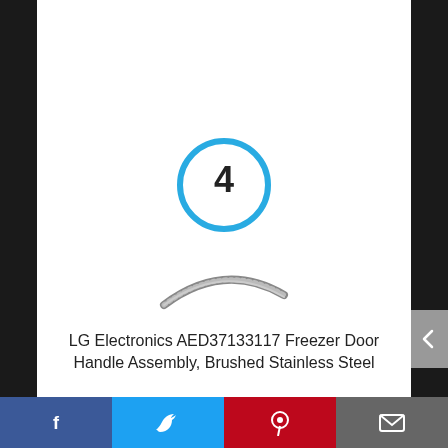[Figure (other): Number 4 inside a blue circle, serving as a product ranking indicator]
[Figure (photo): LG Freezer Door Handle Assembly product image - a brushed stainless steel curved handle shown in profile]
LG Electronics AED37133117 Freezer Door Handle Assembly, Brushed Stainless Steel
By LG
[Figure (other): View Product orange button]
[Figure (other): Social media share bar with Facebook, Twitter, Pinterest, and Email icons]